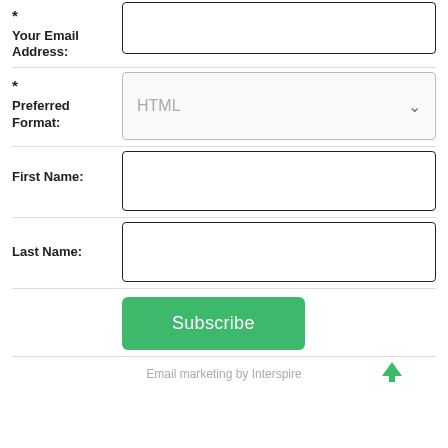*
Your Email Address:
*
Preferred Format:
First Name:
Last Name:
Subscribe
Email marketing by Interspire